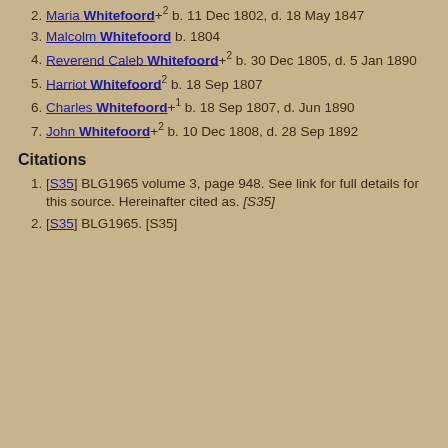2. Maria Whitefoord+2 b. 11 Dec 1802, d. 18 May 1847
3. Malcolm Whitefoord b. 1804
4. Reverend Caleb Whitefoord+2 b. 30 Dec 1805, d. 5 Jan 1890
5. Harriot Whitefoord2 b. 18 Sep 1807
6. Charles Whitefoord+1 b. 18 Sep 1807, d. Jun 1890
7. John Whitefoord+2 b. 10 Dec 1808, d. 28 Sep 1892
Citations
[S35] BLG1965 volume 3, page 948. See link for full details for this source. Hereinafter cited as. [S35]
[S35] BLG1965. [S35]